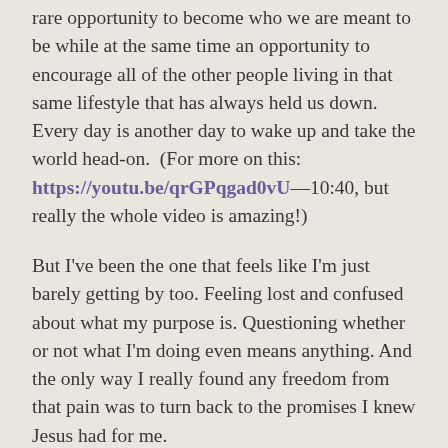rare opportunity to become who we are meant to be while at the same time an opportunity to encourage all of the other people living in that same lifestyle that has always held us down. Every day is another day to wake up and take the world head-on. (For more on this: https://youtu.be/qrGPqgad0vU—10:40, but really the whole video is amazing!)
But I've been the one that feels like I'm just barely getting by too. Feeling lost and confused about what my purpose is. Questioning whether or not what I'm doing even means anything. And the only way I really found any freedom from that pain was to turn back to the promises I knew Jesus had for me.
The first promise being that He saved my life from eternal hell–this is the greatest gift I could ever